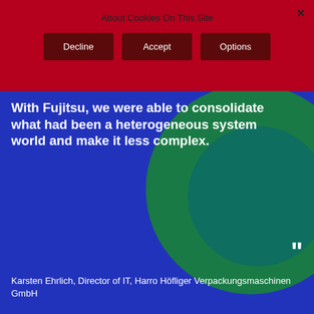About Cookies On This Site
Decline
Accept
Options
With Fujitsu, we were able to consolidate what had been a heterogeneous system world and make it less complex.
Karsten Ehrlich, Director of IT, Harro Höfliger Verpackungsmaschinen GmbH